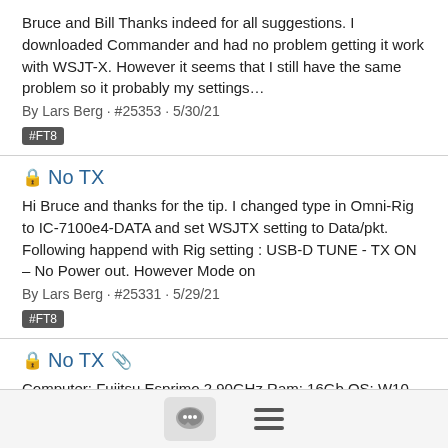Bruce and Bill Thanks indeed for all suggestions. I downloaded Commander and had no problem getting it work with WSJT-X. However it seems that I still have the same problem so it probably my settings…
By Lars Berg · #25353 · 5/30/21
#FT8
No TX
Hi Bruce and thanks for the tip. I changed type in Omni-Rig to IC-7100e4-DATA and set WSJTX setting to Data/pkt. Following happend with Rig setting : USB-D TUNE - TX ON – No Power out. However Mode on
By Lars Berg · #25331 · 5/29/21
#FT8
No TX
Computer: Fujitsu Esprimo 2.90GHz Ram: 16Gb OS: W10 PRO 20H2 (Latest may update) Rig: IC-7100 (Power used abt 10 watts) App: WSJT-X Ver. 2.4.0 (Same problem on all versions